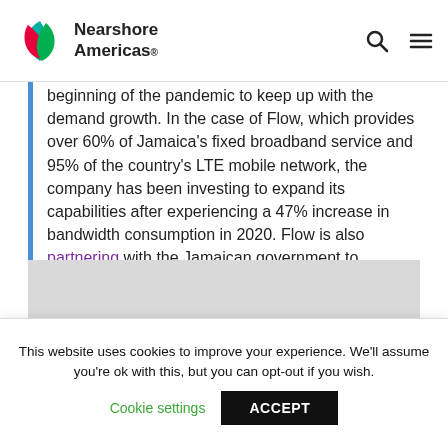Nearshore Americas
beginning of the pandemic to keep up with the demand growth. In the case of Flow, which provides over 60% of Jamaica's fixed broadband service and 95% of the country's LTE mobile network, the company has been investing to expand its capabilities after experiencing a 47% increase in bandwidth consumption in 2020. Flow is also partnering with the Jamaican government to facilitate remote learning.
[Figure (photo): Gray image placeholder below main article text]
This website uses cookies to improve your experience. We'll assume you're ok with this, but you can opt-out if you wish. Cookie settings ACCEPT